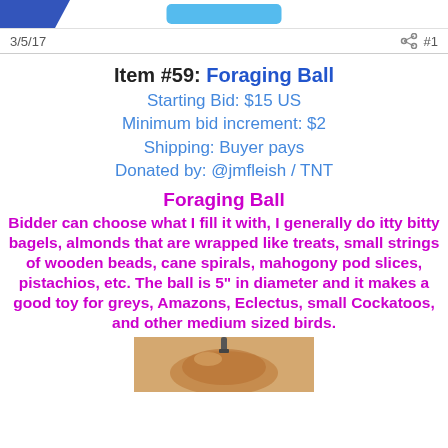3/5/17  #1
Item #59: Foraging Ball
Starting Bid: $15 US
Minimum bid increment: $2
Shipping: Buyer pays
Donated by: @jmfleish / TNT
Foraging Ball
Bidder can choose what I fill it with, I generally do itty bitty bagels, almonds that are wrapped like treats, small strings of wooden beads, cane spirals, mahogony pod slices, pistachios, etc. The ball is 5" in diameter and it makes a good toy for greys, Amazons, Eclectus, small Cockatoos, and other medium sized birds.
[Figure (photo): Photo of a foraging ball, brown/wooden sphere with a chain, partially visible at the bottom of the page]